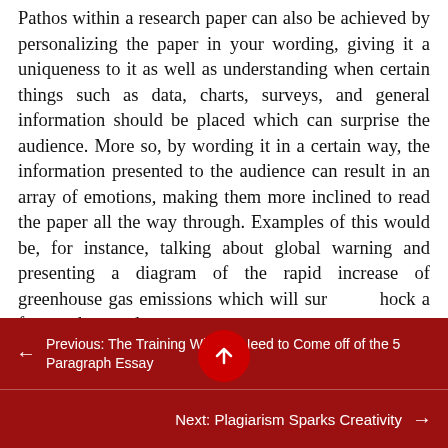Pathos within a research paper can also be achieved by personalizing the paper in your wording, giving it a uniqueness to it as well as understanding when certain things such as data, charts, surveys, and general information should be placed which can surprise the audience. More so, by wording it in a certain way, the information presented to the audience can result in an array of emotions, making them more inclined to read the paper all the way through. Examples of this would be, for instance, talking about global warning and presenting a diagram of the rapid increase of greenhouse gas emissions which will surshock a few readers, and
← Previous: The Training Wheels Need to Come off of the 5 Paragraph Essay
Next: Plagiarism Sparks Creativity →